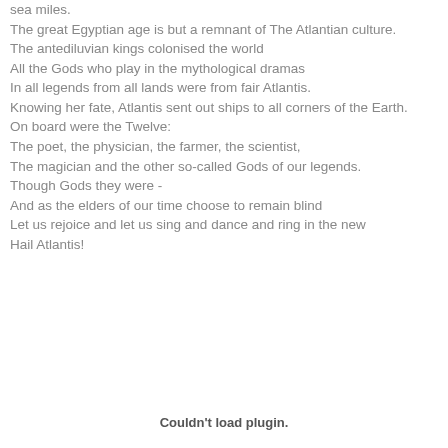sea miles.
The great Egyptian age is but a remnant of The Atlantian culture.
The antediluvian kings colonised the world
All the Gods who play in the mythological dramas
In all legends from all lands were from fair Atlantis.
Knowing her fate, Atlantis sent out ships to all corners of the Earth.
On board were the Twelve:
The poet, the physician, the farmer, the scientist,
The magician and the other so-called Gods of our legends.
Though Gods they were -
And as the elders of our time choose to remain blind
Let us rejoice and let us sing and dance and ring in the new
Hail Atlantis!
Couldn't load plugin.